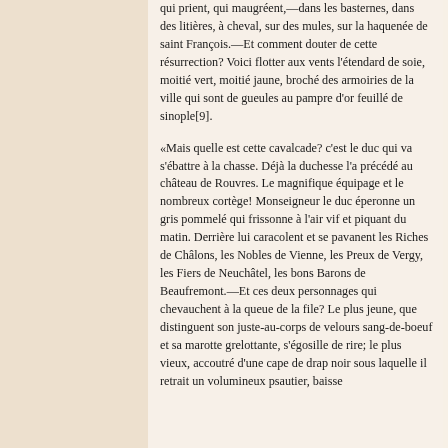qui prient, qui maugréent,—dans les basternes, dans des litières, à cheval, sur des mules, sur la haquenée de saint François.—Et comment douter de cette résurrection? Voici flotter aux vents l'étendard de soie, moitié vert, moitié jaune, broché des armoiries de la ville qui sont de gueules au pampre d'or feuillé de sinople[9].
«Mais quelle est cette cavalcade? c'est le duc qui va s'ébattre à la chasse. Déjà la duchesse l'a précédé au château de Rouvres. Le magnifique équipage et le nombreux cortège! Monseigneur le duc éperonne un gris pommelé qui frissonne à l'air vif et piquant du matin. Derrière lui caracolent et se pavanent les Riches de Châlons, les Nobles de Vienne, les Preux de Vergy, les Fiers de Neuchâtel, les bons Barons de Beaufremont.—Et ces deux personnages qui chevauchent à la queue de la file? Le plus jeune, que distinguent son juste-au-corps de velours sang-de-boeuf et sa marotte grelottante, s'égosille de rire; le plus vieux, accoutré d'une cape de drap noir sous laquelle il retrait un volumineux psautier, baisse